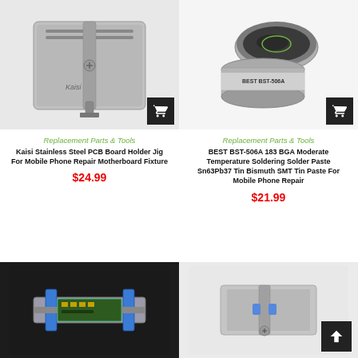[Figure (photo): Kaisi stainless steel PCB board holder jig product photo on grey background]
[Figure (photo): BEST BST-506A solder paste tin containers product photo on white background]
Replacement Parts & Tools
Kaisi Stainless Steel PCB Board Holder Jig For Mobile Phone Repair Motherboard Fixture
$24.99
Replacement Parts & Tools
BEST BST-506A 183 BGA Moderate Temperature Soldering Solder Paste Sn63Pb37 Tin Bismuth SMT Tin Paste For Mobile Phone Repair
$21.99
[Figure (photo): PCB board holder jig with blue clamps on dark background]
[Figure (photo): Another PCB holder fixture on light background]